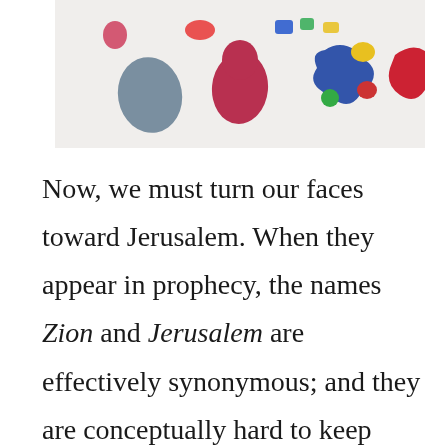[Figure (photo): Colorful toy or craft pieces on a white surface — blue egg-shaped piece, red teardrop, multi-colored puzzle piece, and other small colored shapes]
Now, we must turn our faces toward Jerusalem. When they appear in prophecy, the names Zion and Jerusalem are effectively synonymous; and they are conceptually hard to keep straight. You may want to repeat that statement aloud about